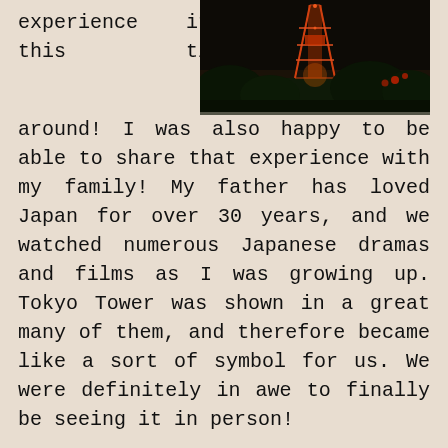experience it this time
[Figure (photo): Night photo of Tokyo Tower illuminated in red/orange against a dark sky with trees in the foreground]
around! I was also happy to be able to share that experience with my family! My father has loved Japan for over 30 years, and we watched numerous Japanese dramas and films as I was growing up. Tokyo Tower was shown in a great many of them, and therefore became like a sort of symbol for us. We were definitely in awe to finally be seeing it in person!

It was awesome enough that we were able to see the tower from our apartment every day and night (we seriously got so lucky with the AirBnB we rented!), but being able to walk over to the tower and see it like that. Well, it simply felt amazing. There was also a sort of beauty about the bright green of the trees, and the red of the tower, washed clean by the rain and contrasting against